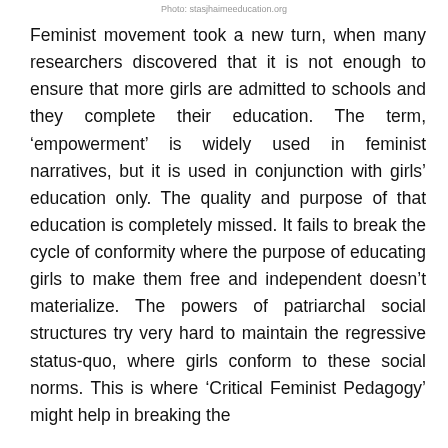Photo: stasjhaimeeducation.org
Feminist movement took a new turn, when many researchers discovered that it is not enough to ensure that more girls are admitted to schools and they complete their education. The term, ‘empowerment’ is widely used in feminist narratives, but it is used in conjunction with girls’ education only. The quality and purpose of that education is completely missed. It fails to break the cycle of conformity where the purpose of educating girls to make them free and independent doesn’t materialize. The powers of patriarchal social structures try very hard to maintain the regressive status-quo, where girls conform to these social norms. This is where ‘Critical Feminist Pedagogy’ might help in breaking the